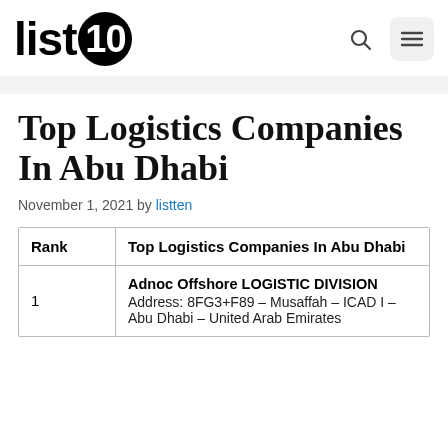list10
Top Logistics Companies In Abu Dhabi
November 1, 2021 by listten
| Rank | Top Logistics Companies In Abu Dhabi |
| --- | --- |
| 1 | Adnoc Offshore LOGISTIC DIVISION
Address: 8FG3+F89 – Musaffah – ICAD I – Abu Dhabi – United Arab Emirates |